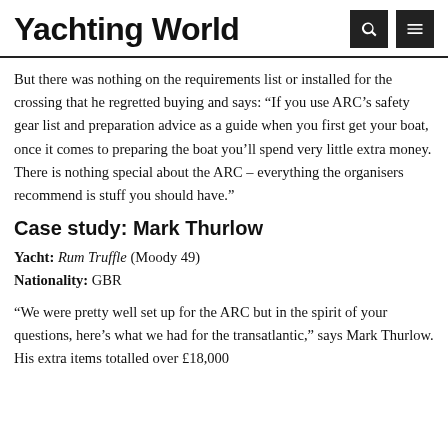Yachting World
But there was nothing on the requirements list or installed for the crossing that he regretted buying and says: “If you use ARC’s safety gear list and preparation advice as a guide when you first get your boat, once it comes to preparing the boat you’ll spend very little extra money. There is nothing special about the ARC – everything the organisers recommend is stuff you should have.”
Case study: Mark Thurlow
Yacht: Rum Truffle (Moody 49)
Nationality: GBR
“We were pretty well set up for the ARC but in the spirit of your questions, here’s what we had for the transatlantic,” says Mark Thurlow. His extra items totalled over £18,000